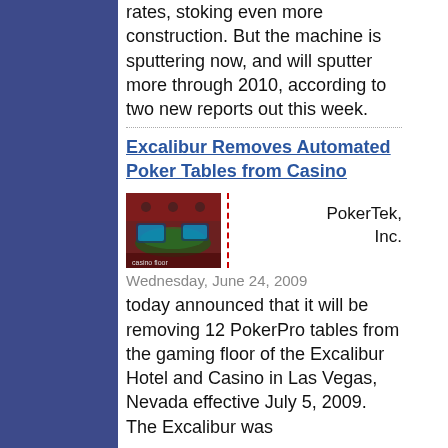rates, stoking even more construction. But the machine is sputtering now, and will sputter more through 2010, according to two new reports out this week.
Excalibur Removes Automated Poker Tables from Casino
[Figure (photo): Photo of poker tables on a casino gaming floor with glowing screens]
PokerTek, Inc.
Wednesday, June 24, 2009
today announced that it will be removing 12 PokerPro tables from the gaming floor of the Excalibur Hotel and Casino in Las Vegas, Nevada effective July 5, 2009. The Excalibur was